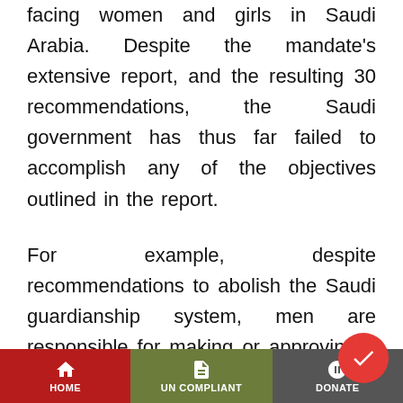facing women and girls in Saudi Arabia. Despite the mandate's extensive report, and the resulting 30 recommendations, the Saudi government has thus far failed to accomplish any of the objectives outlined in the report.
For example, despite recommendations to abolish the Saudi guardianship system, men are responsible for making or approving a wide range of decisions regarding Saudi women's daily lives, including marriage, medical treatment, travel, employment or simply obtaining an identification card.
HOME | UN COMPLIANT | DONATE